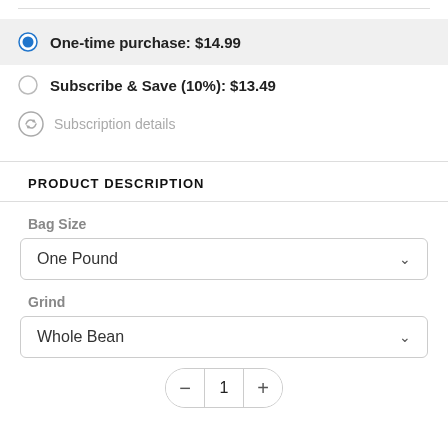One-time purchase: $14.99
Subscribe & Save (10%): $13.49
Subscription details
PRODUCT DESCRIPTION
Bag Size
One Pound
Grind
Whole Bean